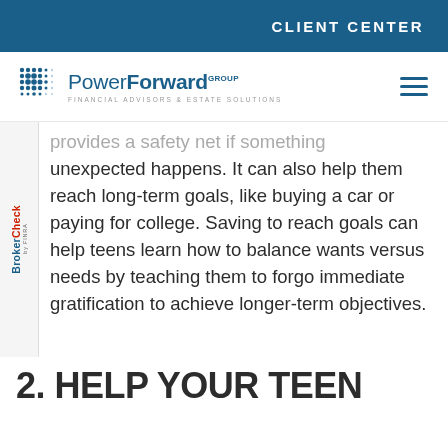CLIENT CENTER
[Figure (logo): PowerForward Group Financial Advisors & Estate Solutions logo with dot-grid icon]
provides a safety net if something unexpected happens. It can also help them reach long-term goals, like buying a car or paying for college. Saving to reach goals can help teens learn how to balance wants versus needs by teaching them to forgo immediate gratification to achieve longer-term objectives.
2. HELP YOUR TEEN